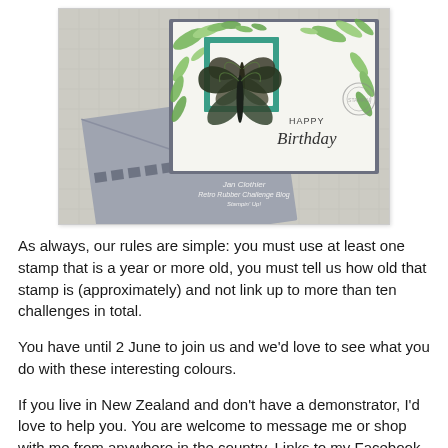[Figure (photo): Photo of a handmade birthday card with butterfly embellishment on a teal square, surrounded by green leaf stampings, with 'Happy Birthday' in script. Card is layered on a grey base. In the background is a second card with an envelope. Watermark reads 'Jan Clothier, Retro Rubber Challenge Blog, Stampin' Up!'.]
As always, our rules are simple:  you must use at least one stamp that is a year or more old, you must tell us how old that stamp is (approximately) and not link up to more than ten challenges in total.
You have until 2 June to join us and we'd love to see what you do with these interesting colours.
If you live in New Zealand and don't have a demonstrator, I'd love to help you. You are welcome to message me or shop with me from anywhere in the country. Links to my Facebook